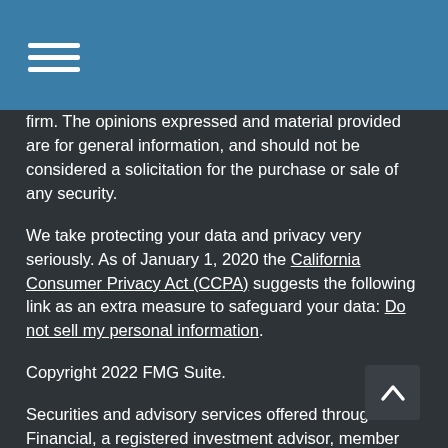Menu / hamburger icon
firm. The opinions expressed and material provided are for general information, and should not be considered a solicitation for the purchase or sale of any security.
We take protecting your data and privacy very seriously. As of January 1, 2020 the California Consumer Privacy Act (CCPA) suggests the following link as an extra measure to safeguard your data: Do not sell my personal information.
Copyright 2022 FMG Suite.
Securities and advisory services offered through LPL Financial, a registered investment advisor, member FINRA/SIPC.
The LPL Financial Registered Representatives